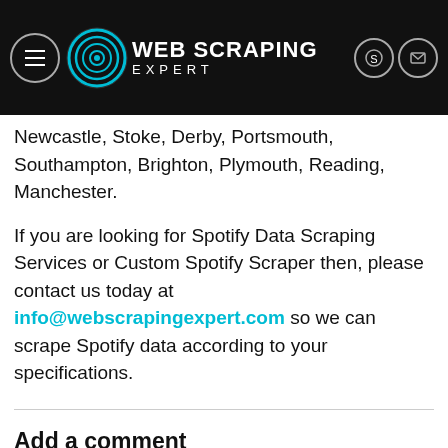Web Scraping Expert — header with logo and navigation
Leeds–Bradford, Liverpool, Newcastle, Glasgow, Stoke, Birmingham, Edinburgh, Leicester, Nottingham, Bradford, Cardiff, Belfast, Hull, Newcastle, Stoke, Derby, Portsmouth, Southampton, Brighton, Plymouth, Reading, Manchester.
If you are looking for Spotify Data Scraping Services or Custom Spotify Scraper then, please contact us today at info@webscrapingexpert.com so we can scrape Spotify data according to your specifications.
Add a comment
Name *